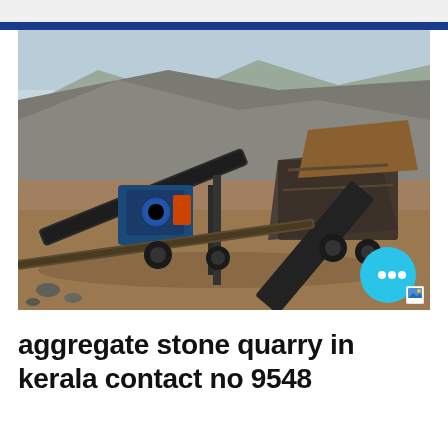[Figure (photo): A stone quarry scene showing heavy crushing and conveyor belt machinery on brown dirt ground, with large piles of aggregate gravel/stone in the background. A teal chat bubble icon is overlaid in the bottom right.]
aggregate stone quarry in kerala contact no 9548